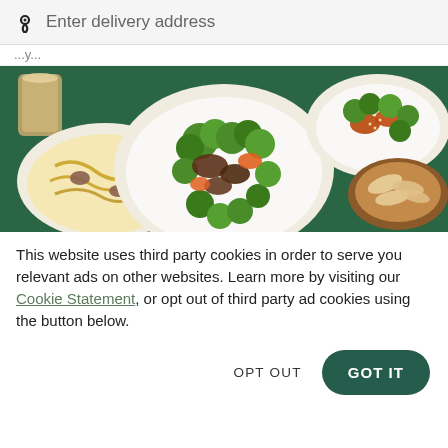Enter delivery address
...y...
[Figure (photo): Overhead shot of multiple Chinese/Asian dishes on a dark green table: a plate of beef and broccoli stir-fry in the center, a plate of noodles with mushrooms on the left, a plate of chicken with broccoli on the upper right, a wooden bowl of chips/crackers on the lower right, and a glass of milk tea on the upper left, with a red sauce bottle nearby.]
This website uses third party cookies in order to serve you relevant ads on other websites. Learn more by visiting our Cookie Statement, or opt out of third party ad cookies using the button below.
OPT OUT
GOT IT